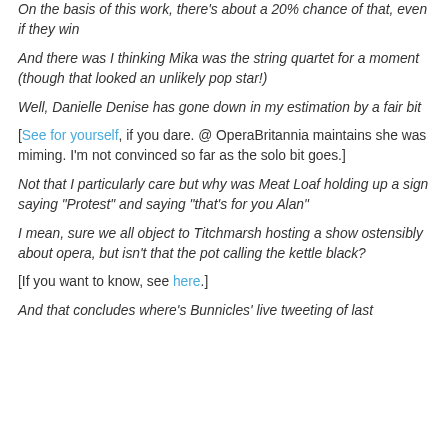On the basis of this work, there's about a 20% chance of that, even if they win
And there was I thinking Mika was the string quartet for a moment (though that looked an unlikely pop star!)
Well, Danielle Denise has gone down in my estimation by a fair bit
[See for yourself, if you dare. @ OperaBritannia maintains she was miming. I'm not convinced so far as the solo bit goes.]
Not that I particularly care but why was Meat Loaf holding up a sign saying "Protest" and saying "that's for you Alan"
I mean, sure we all object to Titchmarsh hosting a show ostensibly about opera, but isn't that the pot calling the kettle black?
[If you want to know, see here.]
And that concludes where's Bunnicles' live tweeting of last